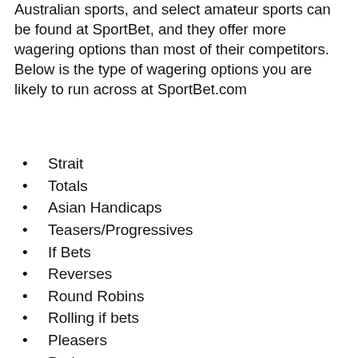Australian sports, and select amateur sports can be found at SportBet, and they offer more wagering options than most of their competitors. Below is the type of wagering options you are likely to run across at SportBet.com
Strait
Totals
Asian Handicaps
Teasers/Progressives
If Bets
Reverses
Round Robins
Rolling if bets
Pleasers
Parlays
Office pools
Point buying
Dynamic lines
Live-in-play
Live Betting Ill...